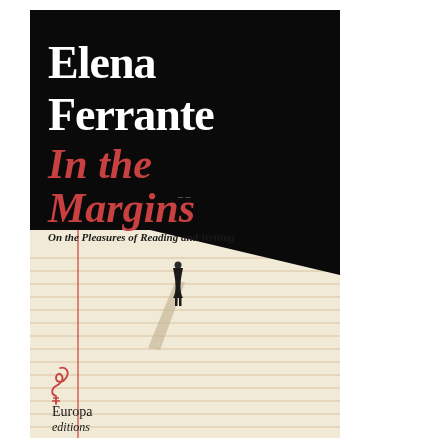[Figure (illustration): Book cover of 'In the Margins: On the Pleasures of Reading and Writing' by Elena Ferrante, published by Europa Editions. Top half is black with white bold author name 'Elena Ferrante' and red italic title 'In the Margins' with subtitle 'On the Pleasures of Reading and Writing'. Bottom half shows a cream/beige ruled notebook paper background with a small lone figure (woman in black dress) standing at the edge of the black area, casting a long shadow. Europa Editions logo and name appear at lower left.]